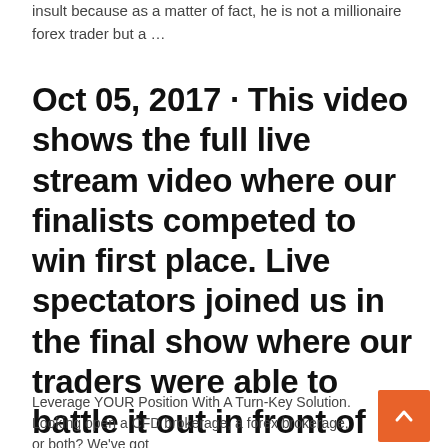insult because as a matter of fact, he is not a millionaire forex trader but a …
Oct 05, 2017 · This video shows the full live stream video where our finalists competed to win first place. Live spectators joined us in the final show where our traders were able to battle it out in front of
Leverage YOUR Position With A Turn-Key Solution. Looking open a CFD brokerage, a forex brokerage, or both? We've got